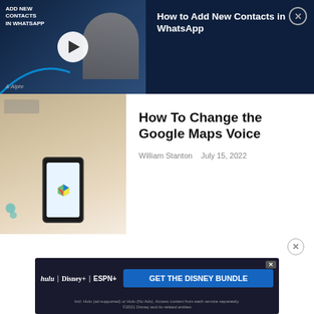[Figure (screenshot): Video thumbnail overlay for 'How to Add New Contacts in WhatsApp' on dark blue background with play button and person using phone]
How to Add New Contacts in WhatsApp
[Figure (photo): Article thumbnail showing a phone with Google Maps icon on a desk with earbuds]
How To Change the Google Maps Voice
William Stanton   July 15, 2022
[Figure (screenshot): Advertisement banner for Disney Bundle featuring Hulu, Disney+, and ESPN+ logos with 'GET THE DISNEY BUNDLE' call to action]